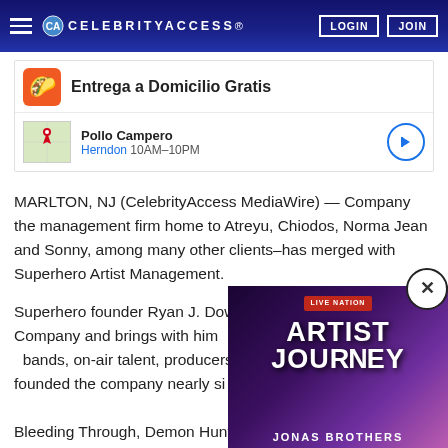CELEBRITY ACCESS
[Figure (screenshot): Ad banner for Pollo Campero showing 'Entrega a Domicilio Gratis' with map thumbnail, Herndon 10AM-10PM location details]
MARLTON, NJ (CelebrityAccess MediaWire) — Company the management firm home to Atreyu, Chiodos, Norma Jean and Sonny, among many other clients–has merged with Superhero Artist Management.
Superhero founder Ryan J. Downey has joined Blood Company and brings with him bands, on-air talent, producers a founded the company nearly si Bleeding Through, Demon Hunt Army as well as former MTV re
[Figure (screenshot): Live Nation video widget showing 'ARTIST JOURNEY' with Jonas Brothers branding on purple/pink gradient background]